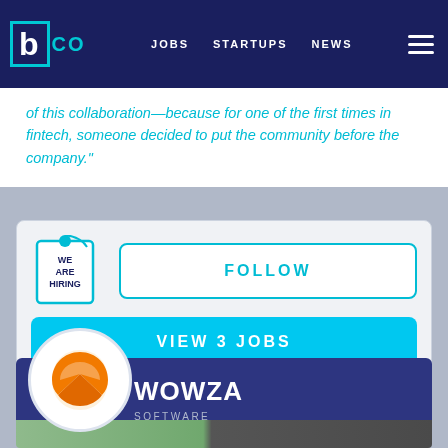b|CO   JOBS   STARTUPS   NEWS
of this collaboration—because for one of the first times in fintech, someone decided to put the community before the company."
[Figure (illustration): We Are Hiring badge icon]
FOLLOW
VIEW 3 JOBS
[Figure (logo): Wowza orange swoosh logo on white circle]
WOWZA
SOFTWARE
[Figure (photo): People photo strip at bottom]